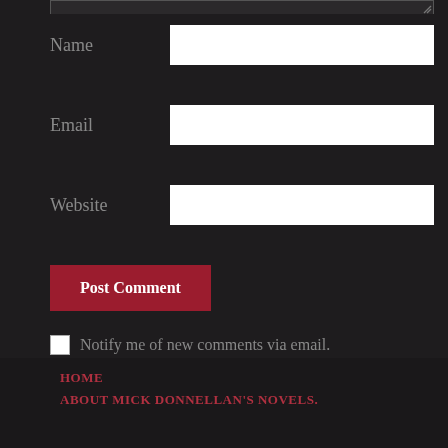[Figure (screenshot): Top edge of a textarea input with resize handle visible]
Name
Email
Website
Post Comment
Notify me of new comments via email.
Notify me of new posts via email.
HOME
ABOUT MICK DONNELLAN'S NOVELS.